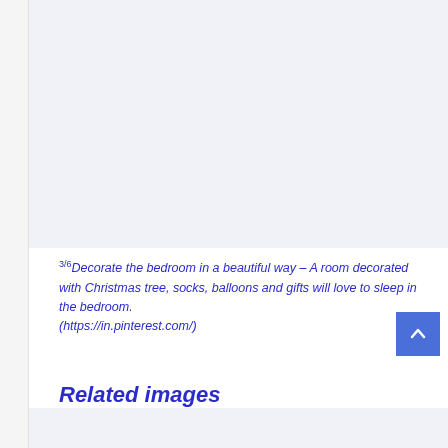[Figure (photo): Large image placeholder area showing a bedroom decorated with Christmas tree, socks, balloons and gifts]
3/6 Decorate the bedroom in a beautiful way – A room decorated with Christmas tree, socks, balloons and gifts will love to sleep in the bedroom. (https://in.pinterest.com/)
Related images